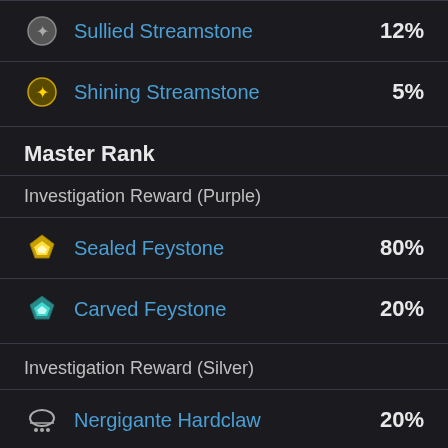Sullied Streamstone 12%
Shining Streamstone 5%
Master Rank
Investigation Reward (Purple)
Sealed Feystone 80%
Carved Feystone 20%
Investigation Reward (Silver)
Nergigante Hardclaw 20%
Nergigante Flail 18%